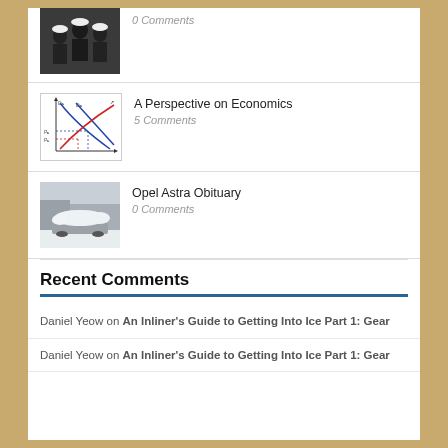[Figure (photo): Group photo of people in dark jackets and white hats]
0 Comments
[Figure (other): Economics supply/demand chart with intersecting curves labeled D1, D2, price levels P1, P2]
A Perspective on Economics
5 Comments
[Figure (photo): Snow-covered car in winter scene]
Opel Astra Obituary
0 Comments
Recent Comments
Daniel Yeow on An Inliner's Guide to Getting Into Ice Part 1: Gear
Daniel Yeow on An Inliner's Guide to Getting Into Ice Part 1: Gear